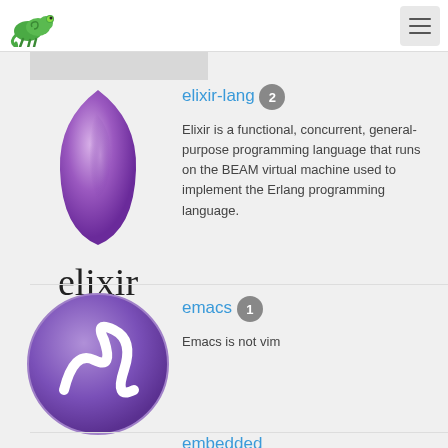Navigation header with chameleon logo and hamburger menu
[Figure (illustration): Elixir programming language logo: purple drop shape above 'elixir' text in dark serif font]
elixir-lang 2
Elixir is a functional, concurrent, general-purpose programming language that runs on the BEAM virtual machine used to implement the Erlang programming language.
[Figure (illustration): Emacs logo: white squiggle/snake shape on purple circular background]
emacs 1
Emacs is not vim
embedded